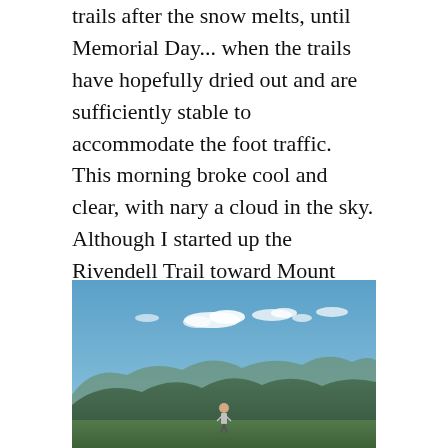trails after the snow melts, until Memorial Day... when the trails have hopefully dried out and are sufficiently stable to accommodate the foot traffic. This morning broke cool and clear, with nary a cloud in the sky. Although I started up the Rivendell Trail toward Mount Cube more than two hours after sunrise, I was nonetheless the first person up the trail this morning. I was treated to grand views from the outlooks and summits, and to the occasional wildflowers along the trails.
[Figure (photo): Outdoor mountain summit photo showing a person standing on a hilltop with panoramic views of green rolling mountains under a blue sky with scattered white clouds.]